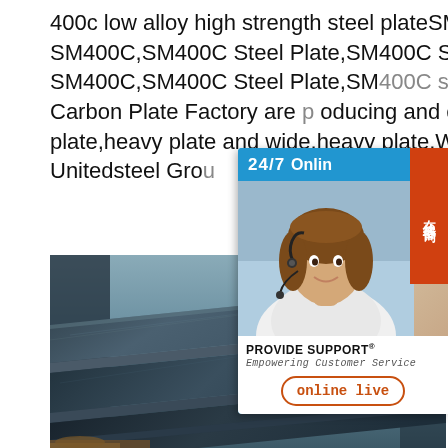400c low alloy high strength steel plateSM400C,JIS G3106 SM400C,SM400C Steel Plate,SM400C SM400C,JIS G3106 SM400C,SM400C Steel Plate,SM400C steel factory Unitedsteel Carbon Plate Factory are producing and exporting Low alloy and high strength plate,heavy plate and wide,heavy plate,Wear resistant steel plate supplier mill at Unitedsteel Group
[Figure (photo): Stacked steel plates, dark bluish-grey color, photographed from an angle showing the layered edges]
[Figure (screenshot): 24/7 online chat support widget with photo of female customer service agent wearing headset. Shows 'PROVIDE SUPPORT® Empowering Customer Service' and 'online live' button. Chinese characters 在线咨询 on red sidebar.]